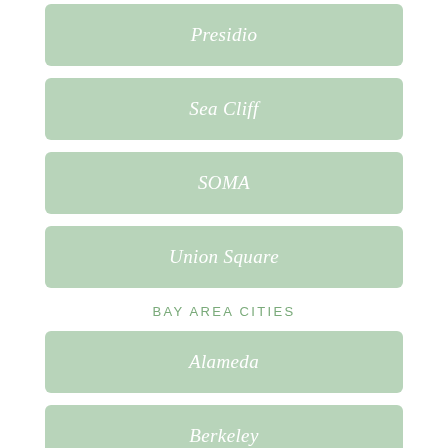Presidio
Sea Cliff
SOMA
Union Square
BAY AREA CITIES
Alameda
Berkeley
Burlingame
Castro Valley